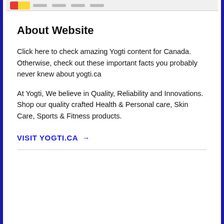[Logo and navigation bar]
About Website
Click here to check amazing Yogti content for Canada. Otherwise, check out these important facts you probably never knew about yogti.ca
At Yogti, We believe in Quality, Reliability and Innovations. Shop our quality crafted Health & Personal care, Skin Care, Sports & Fitness products.
VISIT YOGTI.CA →